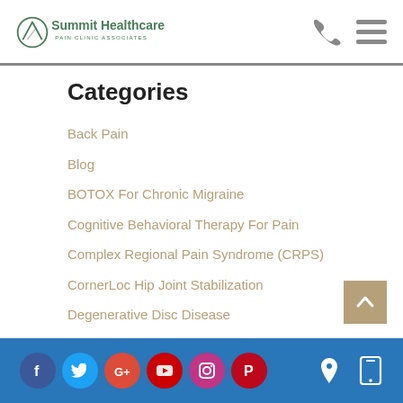Summit Healthcare Pain Clinic Associates
Categories
Back Pain
Blog
BOTOX For Chronic Migraine
Cognitive Behavioral Therapy For Pain
Complex Regional Pain Syndrome (CRPS)
CornerLoc Hip Joint Stabilization
Degenerative Disc Disease
Social icons: Facebook, Twitter, Google, YouTube, Instagram, Pinterest; Location and Mobile icons